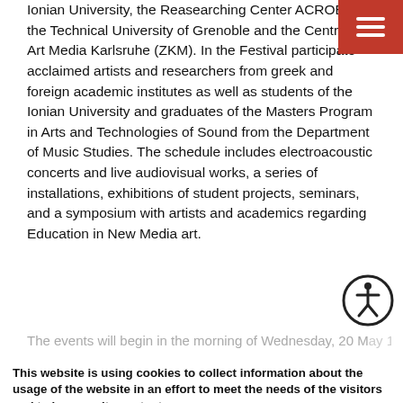Ionian University, the Reasearching Center ACROE of the Technical University of Grenoble and the Centre for Art Media Karlsruhe (ZKM). In the Festival participate acclaimed artists and researchers from greek and foreign academic institutes as well as students of the Ionian University and graduates of the Masters Program in Arts and Technologies of Sound from the Department of Music Studies. The schedule includes electroacoustic concerts and live audiovisual works, a series of installations, exhibitions of student projects, seminars, and a symposium with artists and academics regarding Education in New Media art.
The events will begin in the morning of Wednesday, 20 May...
This website is using cookies to collect information about the usage of the website in an effort to meet the needs of the visitors and to improve its content.
More
Select which types of cookies you wish to accept
Necessary  Performance  Operation  Third Party
Accept
is organised in the centre Ampelonas in the area Trikino. The final concert will present works that combine live acoustic and...